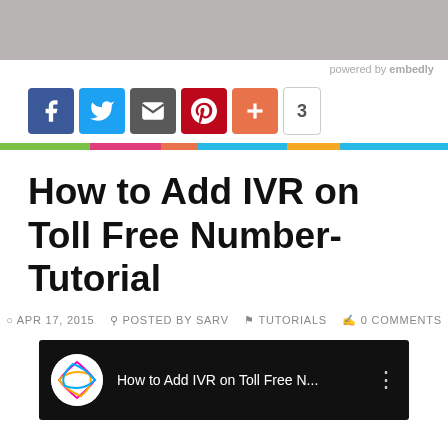[Figure (photo): Top cropped image (person with dark object), partially visible]
powered by embedly
[Figure (infographic): Social sharing buttons: Facebook, Twitter, Email, Pinterest, Plus, count 3]
[Figure (infographic): Colorful horizontal divider bar with segments: green, pink, orange, blue, yellow/orange, blue]
How to Add IVR on Toll Free Number-Tutorial
APR 17, 2015   POSTED BY SARV   TUTORIALS   0 COMMENTS
[Figure (screenshot): YouTube video thumbnail: How to Add IVR on Toll Free N... with Sarv logo and three-dot menu]